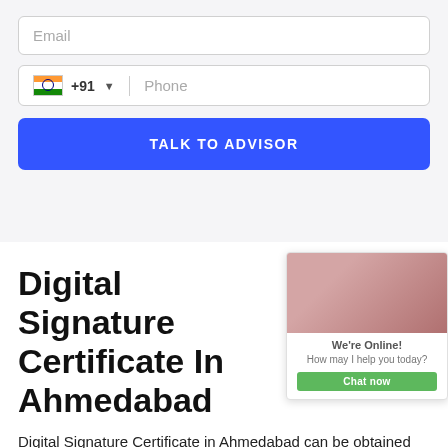[Figure (screenshot): Email input field placeholder]
[Figure (screenshot): Phone input field with Indian flag, +91 country code, and Phone placeholder]
[Figure (screenshot): Blue button labeled TALK TO ADVISOR]
Digital Signature Certificate In Ahmedabad
[Figure (screenshot): Chat popup overlay showing a photo of a person with headset, We're Online! text, How may I help you today? message, and Chat now button]
Digital Signature Certificate in Ahmedabad can be obtained through IndiaFilings. This DSC will help in establishing the identity of the sender digitally. The digital signature certificate helps establish the identity and the consent of